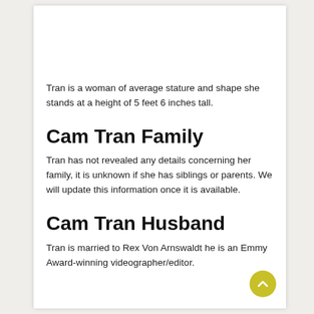Tran is a woman of average stature and shape she stands at a height of 5 feet 6 inches tall.
Cam Tran Family
Tran has not revealed any details concerning her family, it is unknown if she has siblings or parents. We will update this information once it is available.
Cam Tran Husband
Tran is married to Rex Von Arnswaldt he is an Emmy Award-winning videographer/editor.